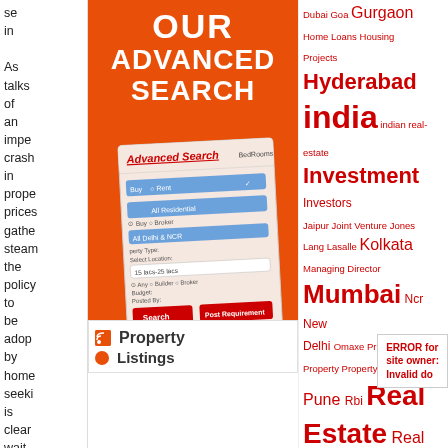As talks of an impending crash in property prices gather steam the policy to be adopted by home seekers is clearly wait
[Figure (screenshot): Orange banner with 'OUR ADVANCED SEARCH' text and a screenshot of an advanced property search form interface]
[Figure (infographic): Tag cloud with real estate related terms: Dubai, Goa, Gurgaon, Home Loans, Housing Projects, Hyderabad, india, indian real-estate, Investment, Investors, Jaipur, Joint Venture, Jones Lang Lasalle, Kolkata, Managing Director, Mumbai, Ncr, New Delhi, Omaxe, Private Equity, Property, Property Investment, Pune, Rbi, Real Estate, Real Estate Developer, Real Estate Developers, Real Estate Investment, Real Estate Market, Real Estate Sector, Realty, Reserve Bank]
ERROR for site owner: Invalid do
[Figure (infographic): Property Listings section with RSS feed icon]